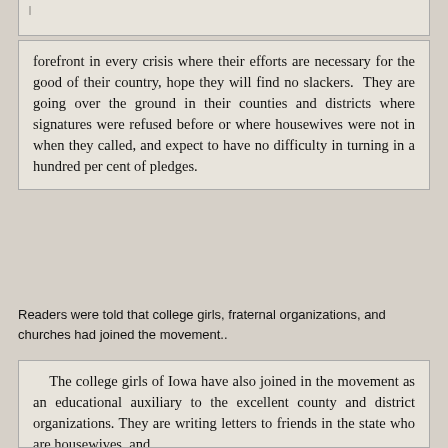forefront in every crisis where their efforts are necessary for the good of their country, hope they will find no slackers. They are going over the ground in their counties and districts where signatures were refused before or where housewives were not in when they called, and expect to have no difficulty in turning in a hundred per cent of pledges.
Readers were told that college girls, fraternal organizations, and churches had joined the movement..
The college girls of Iowa have also joined in the movement as an educational auxiliary to the excellent county and district organizations. They are writing letters to friends in the state who are housewives, and